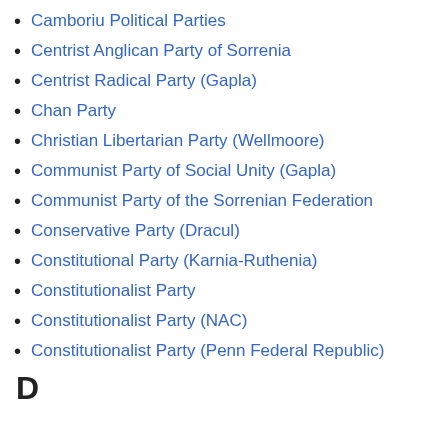Camboriu Political Parties
Centrist Anglican Party of Sorrenia
Centrist Radical Party (Gapla)
Chan Party
Christian Libertarian Party (Wellmoore)
Communist Party of Social Unity (Gapla)
Communist Party of the Sorrenian Federation
Conservative Party (Dracul)
Constitutional Party (Karnia-Ruthenia)
Constitutionalist Party
Constitutionalist Party (NAC)
Constitutionalist Party (Penn Federal Republic)
D